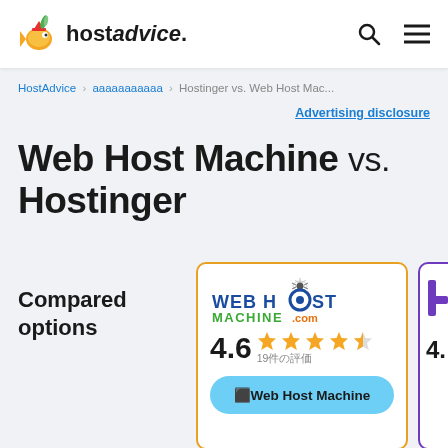hostadvice. [search] [menu]
HostAdvice > aaaaaaaaaa > Hostinger vs. Web Host Mac...
Advertising disclosure
Web Host Machine vs. Hostinger
Compared options
[Figure (screenshot): Web Host Machine card with logo, 4.6 star rating (19 reviews), and Visit Web Host Machine button]
[Figure (screenshot): Hostinger card partial view with logo and 4.x rating]